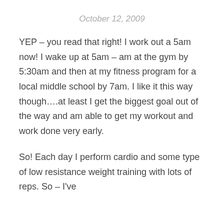October 12, 2009
YEP – you read that right! I work out a 5am now! I wake up at 5am – am at the gym by 5:30am and then at my fitness program for a local middle school by 7am. I like it this way though….at least I get the biggest goal out of the way and am able to get my workout and work done very early.
So! Each day I perform cardio and some type of low resistance weight training with lots of reps. So – I've